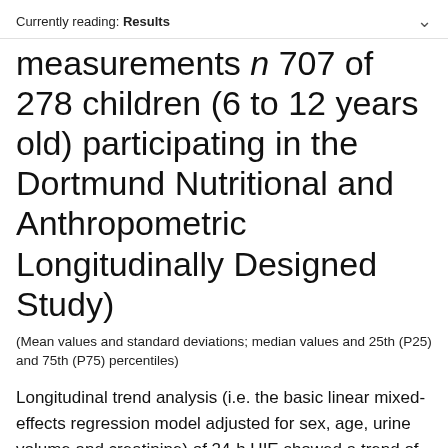Currently reading: Results
measurements n 707 of 278 children (6 to 12 years old) participating in the Dortmund Nutritional and Anthropometric Longitudinally Designed Study)
(Mean values and standard deviations; median values and 25th (P25) and 75th (P75) percentiles)
Longitudinal trend analysis (i.e. the basic linear mixed-effects regression model adjusted for sex, age, urine volume and creatinine) of 24-h UIE showed a trend of a decline over the 6-year period under study (2004–9; β = − 1·05, P = 0·08). When this analysis was stratified by time (2004–6 v. 2007–9), a significant decline of urinary iodine was only observable in the second time interval (2007–9; β = − 3·86, P = 0·01); whereas from 2004 to